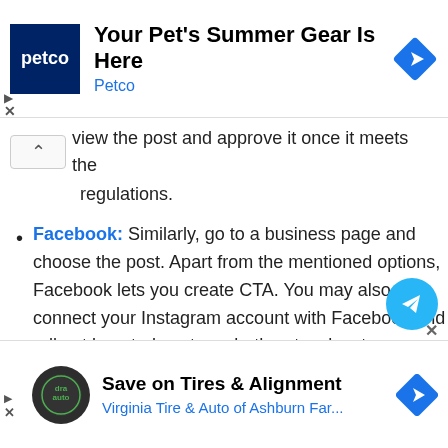[Figure (screenshot): Top Petco advertisement banner with logo, headline 'Your Pet's Summer Gear Is Here', subtext 'Petco', and a blue diamond direction icon on the right.]
view the post and approve it once it meets the regulations.
Facebook: Similarly, go to a business page and choose the post. Apart from the mentioned options, Facebook lets you create CTA. You may also connect your Instagram account with Facebook and roll out boosted posts on both networks at once.
Twitter: Tap on Promote the Tweet, choose yo...
[Figure (screenshot): Bottom Virginia Tire & Auto advertisement banner with logo, headline 'Save on Tires & Alignment', subtext 'Virginia Tire & Auto of Ashburn Far...' and a blue diamond direction icon on the right.]